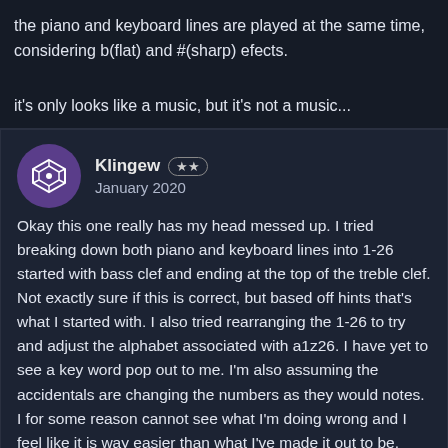the piano and keyboard lines are played at the same time, considering b(flat) and #(sharp) efects.
it's only looks like a music, but it's not a music...
Klingew
January 2020
Okay this one really has my head messed up. I tried breaking down both piano and keyboard lines into 1-26 started with bass clef and ending at the top of the treble clef. Not exactly sure if this is correct, but based off hints that's what I started with. I also tried rearranging the 1-26 to try and adjust the alphabet associated with a1z26. I have yet to see a key word pop out to me. I'm also assuming the accidentals are changing the numbers as they would notes. I for some reason cannot see what I'm doing wrong and I feel like it is way easier than what I've made it out to be.